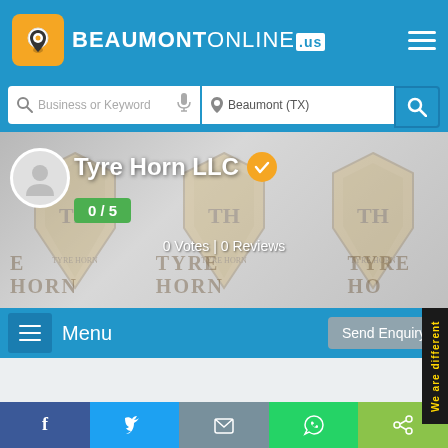BEAUMONTONLINE.us
Business or Keyword | Beaumont (TX)
Tyre Horn LLC
0 / 5
0 Votes | 0 Reviews
Menu
Send Enquiry
We are different
f | Twitter | Email | WhatsApp | Share